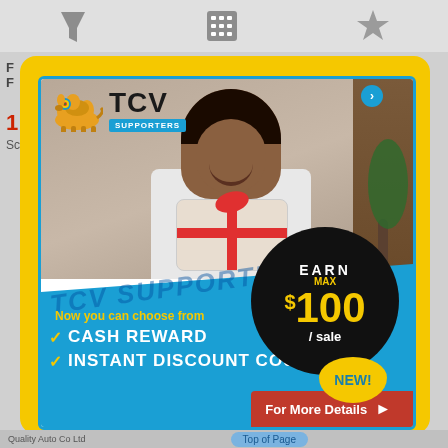[Figure (screenshot): Mobile app screenshot background showing filter icon, calculator icon, and star icon in top bar]
[Figure (infographic): TCV Supporters advertisement popup with yellow border. Shows a man holding a gift box. Ad text: EARN MAX $100 / sale. Now you can choose from: CASH REWARD, INSTANT DISCOUNT COUPON. NEW! badge. For More Details button. TCV Supporters logo with camel icon at top.]
Now you can choose from
CASH REWARD
INSTANT DISCOUNT COUPON
For More Details